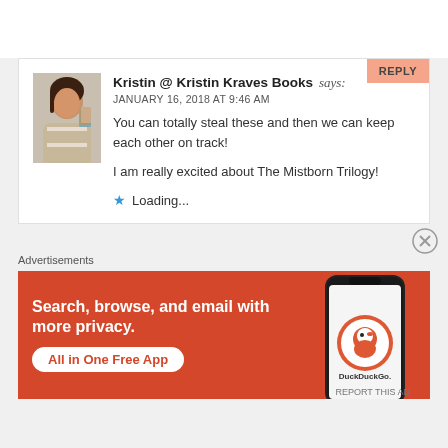Kristin @ Kristin Kraves Books says:
JANUARY 16, 2018 AT 9:46 AM
You can totally steal these and then we can keep each other on track!

I am really excited about The Mistborn Trilogy!

★ Loading...
[Figure (photo): Profile photo of a young woman holding books]
Advertisements
[Figure (infographic): DuckDuckGo advertisement: Search, browse, and email with more privacy. All in One Free App. Shows DuckDuckGo logo on a phone.]